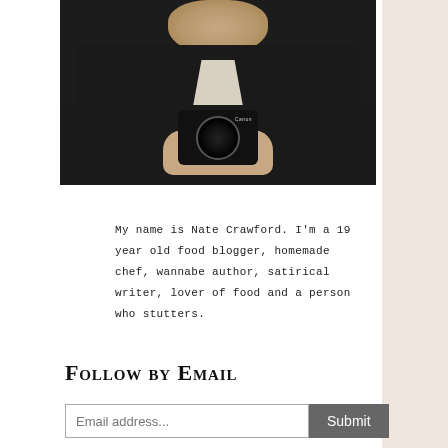[Figure (photo): Person holding a Canon camera, taking a mirror selfie, wearing a dark jacket over a white shirt, dark background]
My name is Nate Crawford. I'm a 19 year old food blogger, homemade chef, wannabe author, satirical writer, lover of food and a person who stutters.
Follow by Email
Email address...  Submit